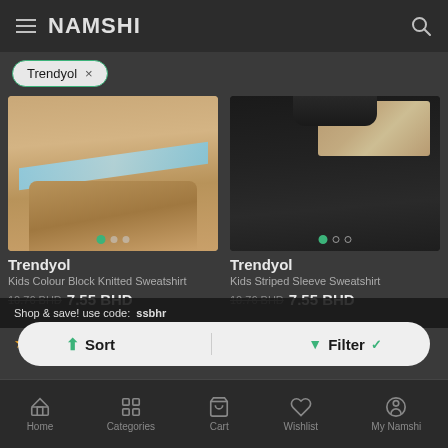NAMSHI
Trendyol ×
[Figure (photo): Tan/brown colour block knitted sweatshirt product image with blue accent stripe]
Trendyol
Kids Colour Block Knitted Sweatshirt
10.76 BHD  7.55 BHD
[Figure (photo): Black kids striped sleeve sweatshirt product image on dark background]
Trendyol
Kids Striped Sleeve Sweatshirt
10.76 BHD  7.55 BHD
Shop & save! use code: ssbhr
⬆ Sort    ▼ Filter ✓
★ 4 (5 ratings)
Home   Categories   Cart   Wishlist   My Namshi